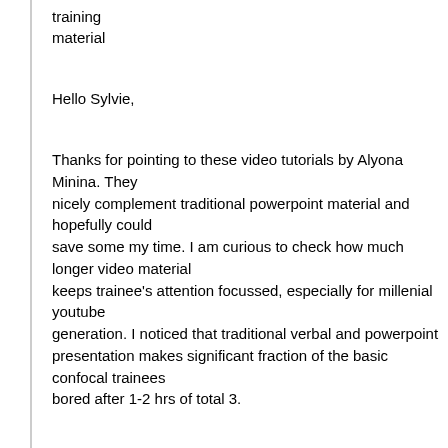training
material
Hello Sylvie,
Thanks for pointing to these video tutorials by Alyona Minina. They
nicely complement traditional powerpoint material and hopefully could
save some my time. I am curious to check how much longer video material
keeps trainee's attention focussed, especially for millenial youtube
generation. I noticed that traditional verbal and powerpoint
presentation makes significant fraction of the basic confocal trainees
bored after 1-2 hrs of total 3.
with best wishes Arvydas